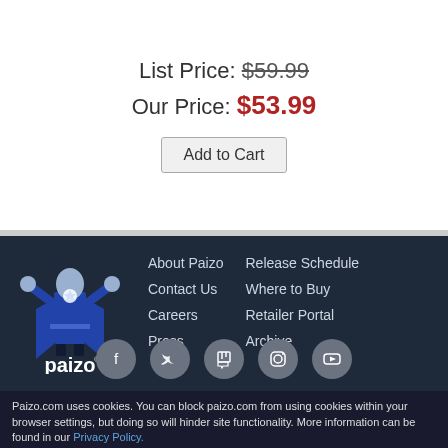List Price: $59.99
Our Price: $53.99
Add to Cart
[Figure (logo): Paizo logo — blue robed figure with the word paizo below]
About Paizo
Contact Us
Careers
Press
Release Schedule
Where to Buy
Retailer Portal
Archive
[Figure (infographic): Social media icons: Facebook, Twitter, Twitch, Instagram, YouTube]
Paizo.com uses cookies. You can block paizo.com from using cookies within your browser settings, but doing so will hinder site functionality. More information can be found in our Privacy Policy.
OK